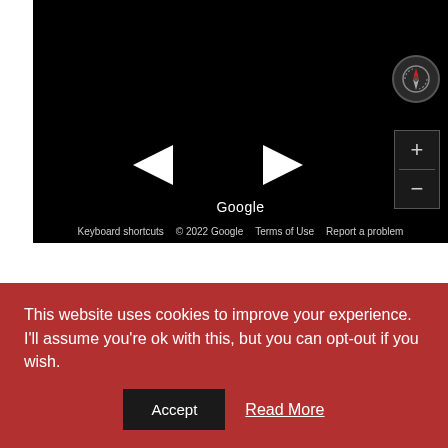[Figure (map): Google Maps embed showing a dark/satellite map view with navigation arrows (left and right chevrons), compass button, zoom controls (+/-), Google branding, and footer links: Keyboard shortcuts, © 2022 Google, Terms of Use, Report a problem]
View Larger Map
This website uses cookies to improve your experience. I'll assume you're ok with this, but you can opt-out if you wish.
Accept
Read More